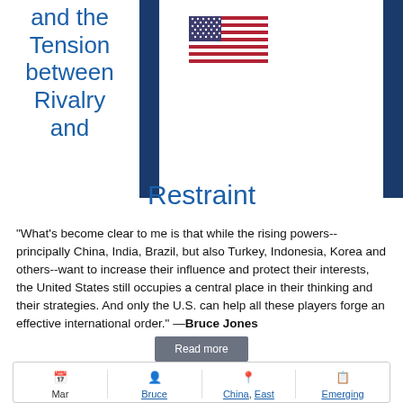and the Tension between Rivalry and Restraint
[Figure (illustration): United States flag illustration]
"What's become clear to me is that while the rising powers--principally China, India, Brazil, but also Turkey, Indonesia, Korea and others--want to increase their influence and protect their interests, the United States still occupies a central place in their thinking and their strategies. And only the U.S. can help all these players forge an effective international order." —Bruce Jones
Read more
Mar 17, 2014 | Bruce Jones | China, East Asia, Europe, Brazil, ... | Emerging Powers, International Security ...